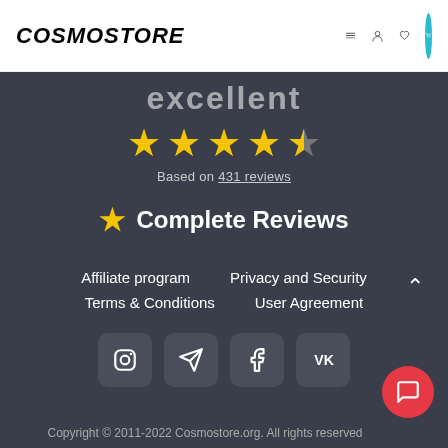COSMOSTORE
excellent
[Figure (other): 4.5 star rating displayed with yellow stars]
Based on 431 reviews
Complete Reviews
Affiliate program
Privacy and Security
Terms & Conditions
User Agreement
[Figure (other): Social media icons: Instagram, Telegram, Facebook, VK]
Copyright © 2011-2022 Cosmostore.org. All rights reserved